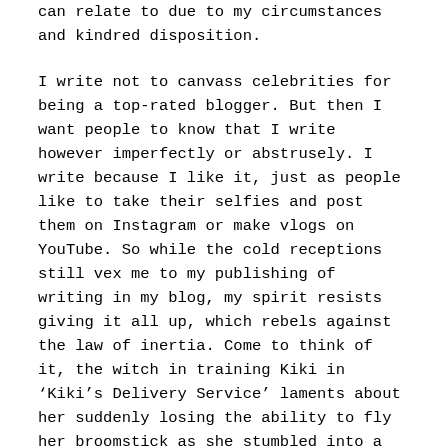can relate to due to my circumstances and kindred disposition.
I write not to canvass celebrities for being a top-rated blogger. But then I want people to know that I write however imperfectly or abstrusely. I write because I like it, just as people like to take their selfies and post them on Instagram or make vlogs on YouTube. So while the cold receptions still vex me to my publishing of writing in my blog, my spirit resists giving it all up, which rebels against the law of inertia. Come to think of it, the witch in training Kiki in ‘Kiki’s Delivery Service’ laments about her suddenly losing the ability to fly her broomstick as she stumbled into a vertigo of existentialist